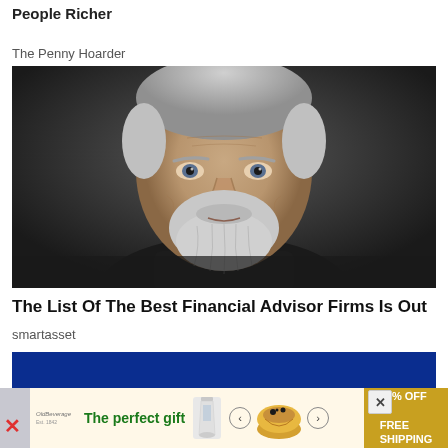This 7-Day Savings Challenge Is Going Viral By Making People Richer
The Penny Hoarder
[Figure (photo): Close-up portrait of an older man with white/grey hair and beard, wearing dark clothing, against a dark background. Serious expression.]
The List Of The Best Financial Advisor Firms Is Out
smartasset
[Figure (screenshot): Dark blue banner/advertisement background]
[Figure (infographic): Advertisement bar: 'The perfect gift' with food product image, navigation arrows, and '35% OFF + FREE SHIPPING' offer in golden section]